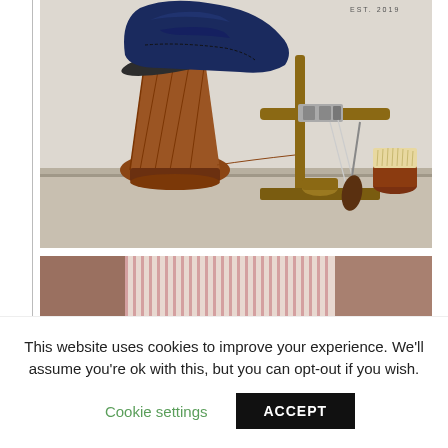[Figure (photo): A shoemaking/cobbler scene on a workbench: a navy blue leather dress shoe propped on a spool of brown thread/yarn, next to a wooden stitching clamp (lasting pincers) holding thread, and a brush on a small wooden base. Text 'EST. 2019' appears in the upper right area of the image.]
[Figure (photo): Partial view of a person wearing a pink/white striped shirt, cropped at mid-torso level, with warm brown background tones visible.]
This website uses cookies to improve your experience. We'll assume you're ok with this, but you can opt-out if you wish.
Cookie settings   ACCEPT